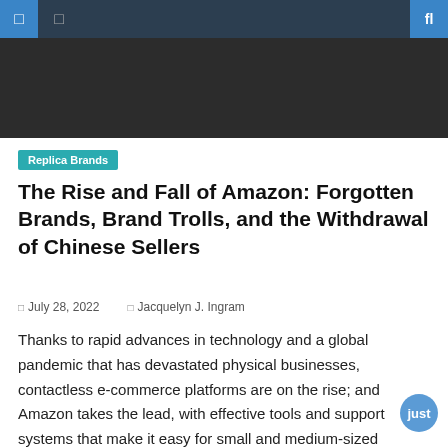Navigation bar with menu icons and search
[Figure (photo): Dark hero image banner at the top of the article page]
Replica Brands
The Rise and Fall of Amazon: Forgotten Brands, Brand Trolls, and the Withdrawal of Chinese Sellers
July 28, 2022   Jacquelyn J. Ingram
Thanks to rapid advances in technology and a global pandemic that has devastated physical businesses, contactless e-commerce platforms are on the rise; and Amazon takes the lead, with effective tools and support systems that make it easy for small and medium-sized businesses (SMBs) to generate profits on the site with just the click of a [...]